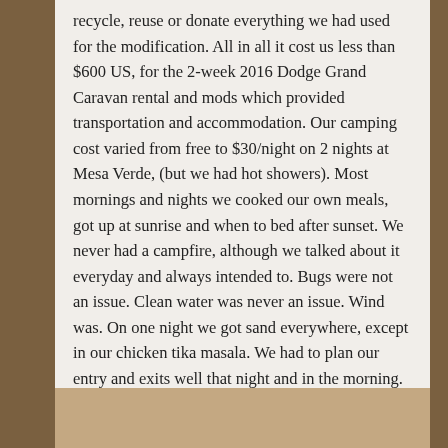recycle, reuse or donate everything we had used for the modification. All in all it cost us less than $600 US, for the 2-week 2016 Dodge Grand Caravan rental and mods which provided transportation and accommodation. Our camping cost varied from free to $30/night on 2 nights at Mesa Verde, (but we had hot showers). Most mornings and nights we cooked our own meals, got up at sunrise and when to bed after sunset. We never had a campfire, although we talked about it everyday and always intended to. Bugs were not an issue. Clean water was never an issue. Wind was. On one night we got sand everywhere, except in our chicken tika masala. We had to plan our entry and exits well that night and in the morning. It felt a little like we were fleeing that campsite when we left. We had